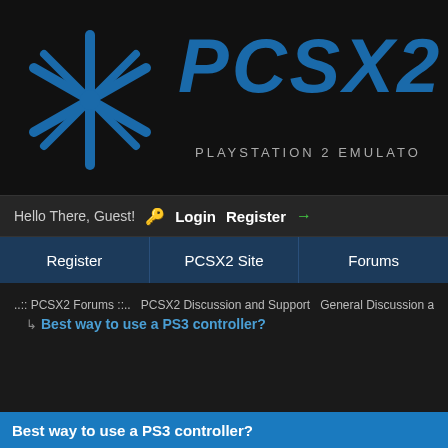[Figure (logo): PCSX2 logo with blue asterisk/star icon on dark background and large blue italic PCSX2 text with subtitle PLAYSTATION 2 EMULATOR]
Hello There, Guest! Login Register →
Register | PCSX2 Site | Forums
..:: PCSX2 Forums ::..  PCSX2 Discussion and Support  General Discussion and
Best way to use a PS3 controller?
Best way to use a PS3 controller?